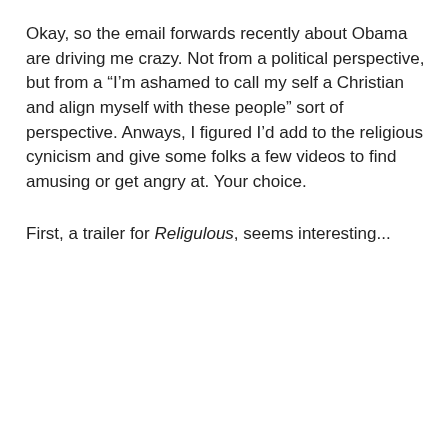Okay, so the email forwards recently about Obama are driving me crazy. Not from a political perspective, but from a “I’m ashamed to call my self a Christian and align myself with these people” sort of perspective. Anways, I figured I’d add to the religious cynicism and give some folks a few videos to find amusing or get angry at. Your choice.
First, a trailer for Religulous, seems interesting...